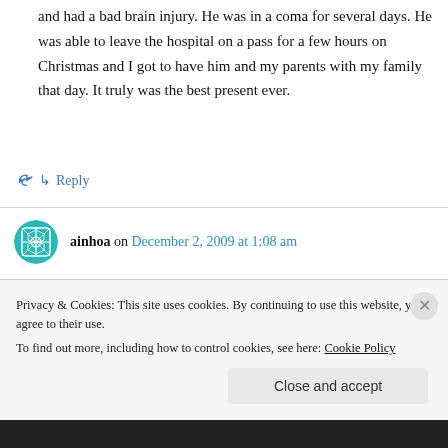and had a bad brain injury. He was in a coma for several days. He was able to leave the hospital on a pass for a few hours on Christmas and I got to have him and my parents with my family that day. It truly was the best present ever.
↳ Reply
ainhoa on December 2, 2009 at 1:08 am
My favourite Christmas gift was a patchwork quilt made by my mother some years ago.
Privacy & Cookies: This site uses cookies. By continuing to use this website, you agree to their use.
To find out more, including how to control cookies, see here: Cookie Policy